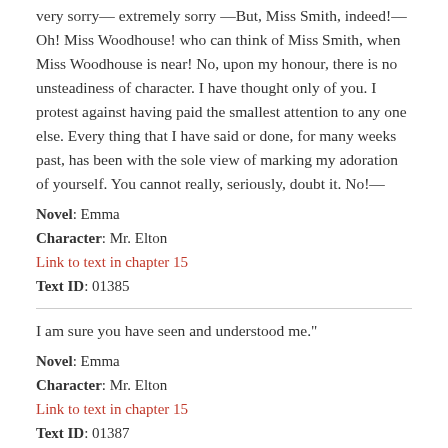very sorry— extremely sorry —But, Miss Smith, indeed!—Oh! Miss Woodhouse! who can think of Miss Smith, when Miss Woodhouse is near! No, upon my honour, there is no unsteadiness of character. I have thought only of you. I protest against having paid the smallest attention to any one else. Every thing that I have said or done, for many weeks past, has been with the sole view of marking my adoration of yourself. You cannot really, seriously, doubt it. No!—
Novel: Emma
Character: Mr. Elton
Link to text in chapter 15
Text ID: 01385
I am sure you have seen and understood me."
Novel: Emma
Character: Mr. Elton
Link to text in chapter 15
Text ID: 01387
"Charming Miss Woodhouse! allow me to interpret this interesting silence. It confesses that you have long understood